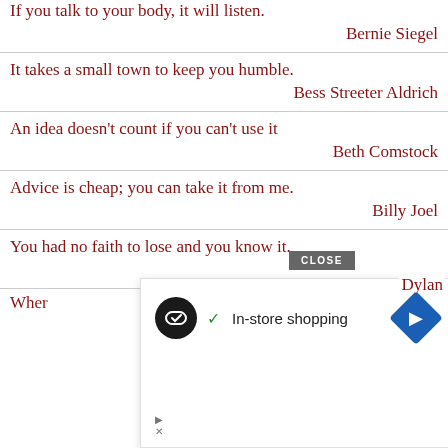If you talk to your body, it will listen.
Bernie Siegel
It takes a small town to keep you humble.
Bess Streeter Aldrich
An idea doesn't count if you can't use it
Beth Comstock
Advice is cheap; you can take it from me.
Billy Joel
You had no faith to lose and you know it.
Dylan
When...n.
steen
[Figure (screenshot): Advertisement overlay with close button showing in-store shopping with navigation icon]